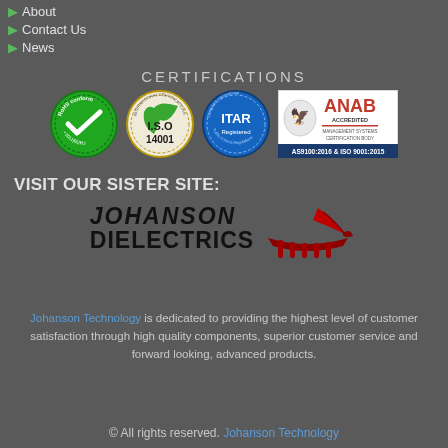About
Contact Us
News
CERTIFICATIONS
[Figure (logo): Four certification logos: RoHS conform 2011/65/EU (green circular badge), ISO 14001 (gold/cream circular badge), ITAR Registered (blue circular badge), AS9100:2016 & ISO 9001:2015 ANAB Accredited (white rectangular badge)]
VISIT OUR SISTER SITE:
[Figure (logo): Johanson Dielectrics logo with Viking ship imagery in red]
Johanson Technology is dedicated to providing the highest level of customer satisfaction through high quality components, superior customer service and forward looking, advanced products.
© All rights reserved. Johanson Technology